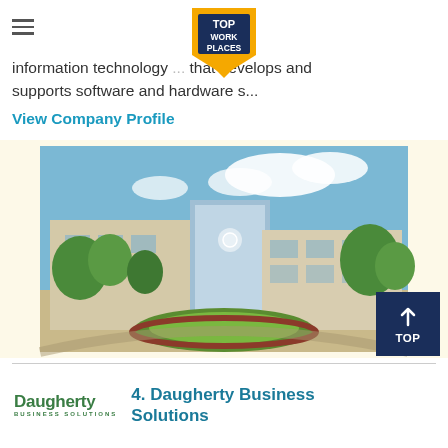≡ TOP WORK PLACES
information technology ... that develops and supports software and hardware s...
View Company Profile
[Figure (photo): Exterior photo of a modern corporate office building with glass facade, surrounded by green trees and landscaped bushes under a blue sky with white clouds.]
TOP
Daugherty Business Solutions
4. Daugherty Business Solutions